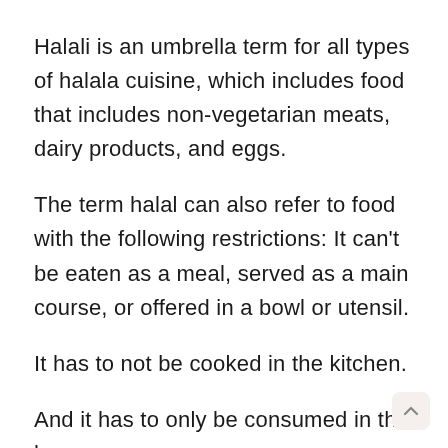Halali is an umbrella term for all types of halala cuisine, which includes food that includes non-vegetarian meats, dairy products, and eggs.
The term halal can also refer to food with the following restrictions: It can’t be eaten as a meal, served as a main course, or offered in a bowl or utensil.
It has to not be cooked in the kitchen.
And it has to only be consumed in the home.